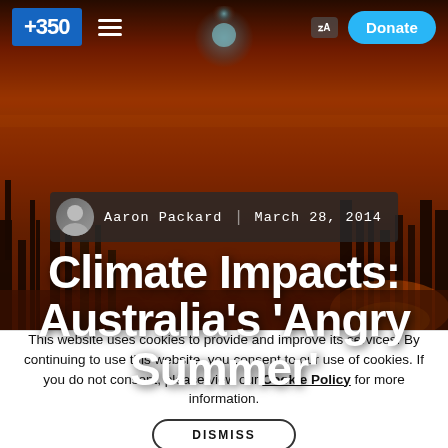[Figure (photo): Hero background photo of Australian bushfire scene with red/orange smoky sky and dark tree silhouettes, with navigation bar overlay showing +350 logo, hamburger menu, translate icon, and Donate button]
Aaron Packard   March 28, 2014
Climate Impacts: Australia's 'Angry Summer'
This website uses cookies to provide and improve its services. By continuing to use this website, you consent to our use of cookies. If you do not consent, please view our Cookie Policy for more information.
DISMISS